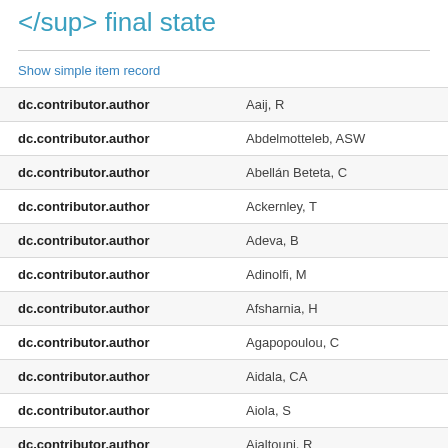</sup> final state
Show simple item record
| Field | Value |
| --- | --- |
| dc.contributor.author | Aaij, R |
| dc.contributor.author | Abdelmotteleb, ASW |
| dc.contributor.author | Abellán Beteta, C |
| dc.contributor.author | Ackernley, T |
| dc.contributor.author | Adeva, B |
| dc.contributor.author | Adinolfi, M |
| dc.contributor.author | Afsharnia, H |
| dc.contributor.author | Agapopoulou, C |
| dc.contributor.author | Aidala, CA |
| dc.contributor.author | Aiola, S |
| dc.contributor.author | Ajaltouni, R |